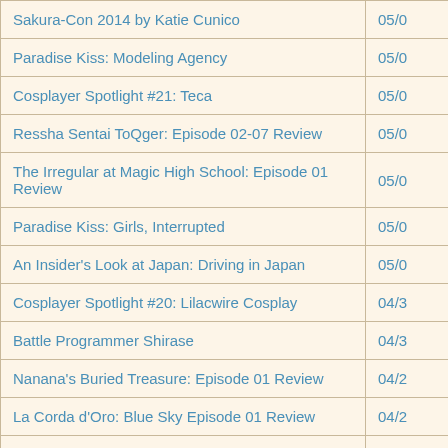| Title | Date |
| --- | --- |
| Sakura-Con 2014 by Katie Cunico | 05/0 |
| Paradise Kiss: Modeling Agency | 05/0 |
| Cosplayer Spotlight #21: Teca | 05/0 |
| Ressha Sentai ToQger: Episode 02-07 Review | 05/0 |
| The Irregular at Magic High School: Episode 01 Review | 05/0 |
| Paradise Kiss: Girls, Interrupted | 05/0 |
| An Insider's Look at Japan: Driving in Japan | 05/0 |
| Cosplayer Spotlight #20: Lilacwire Cosplay | 04/3 |
| Battle Programmer Shirase | 04/3 |
| Nanana's Buried Treasure: Episode 01 Review | 04/2 |
| La Corda d'Oro: Blue Sky Episode 01 Review | 04/2 |
| Otakon Vegas 2014 | 04/2 |
| Picross 3D | 04/2 |
| Cosplayer Spotlight #19: Cat-chan Cosplay | 04/2 |
| Sakura 2014 U... | 04/ |